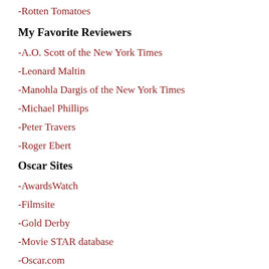-Rotten Tomatoes
My Favorite Reviewers
-A.O. Scott of the New York Times
-Leonard Maltin
-Manohla Dargis of the New York Times
-Michael Phillips
-Peter Travers
-Roger Ebert
Oscar Sites
-AwardsWatch
-Filmsite
-Gold Derby
-Movie STAR database
-Oscar.com